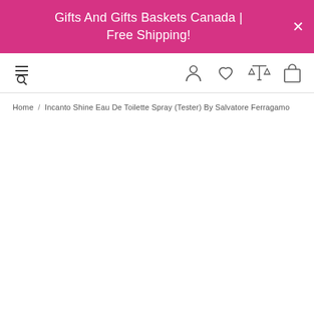Gifts And Gifts Baskets Canada | Free Shipping!
[Figure (screenshot): Website navigation bar with hamburger-search icon on left, and user/wishlist/compare/cart icons on right]
Home / Incanto Shine Eau De Toilette Spray (Tester) By Salvatore Ferragamo